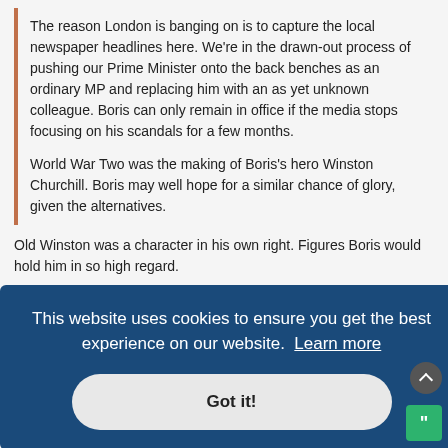The reason London is banging on is to capture the local newspaper headlines here. We're in the drawn-out process of pushing our Prime Minister onto the back benches as an ordinary MP and replacing him with an as yet unknown colleague. Boris can only remain in office if the media stops focusing on his scandals for a few months.

World War Two was the making of Boris's hero Winston Churchill. Boris may well hope for a similar chance of glory, given the alternatives.
Old Winston was a character in his own right. Figures Boris would hold him in so high regard.
Near as I can tell, he gave one somewhat rousing speech, that made him the hero.
His other claim to fame seems to be getting the US into the "Great War"
Meanwhile, our Mr Biden has his nuts in a vice. No matter what he does about the Ukraine, he'll get shit from the folks at home.
[Figure (screenshot): Cookie consent banner overlay with dark blue background reading 'This website uses cookies to ensure you get the best experience on our website. Learn more' and a 'Got it!' button.]
the Russian occupation of Ukraine
Wed Feb 09, 2022 3:16 am